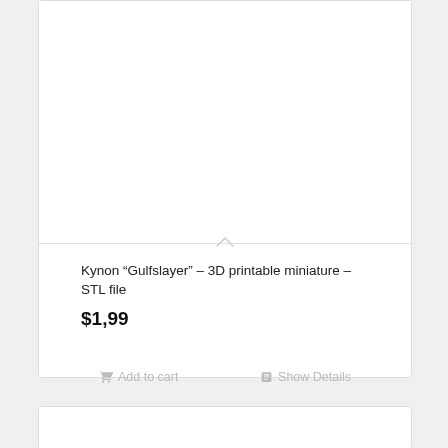[Figure (other): Product card image area — white/blank image area for 3D printable miniature product, with a small upward chevron arrow divider at the bottom]
Kynon “Gulfslayer” – 3D printable miniature – STL file
$1,99
Add to cart
Show Details
[Figure (other): Second product card — partially visible at bottom of page, white background]